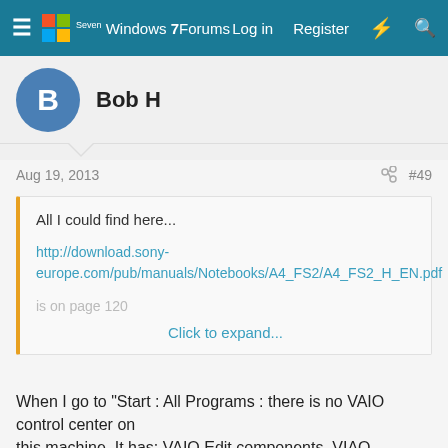Windows 7 Forums — Log in  Register
Bob H
Aug 19, 2013  #49
All I could find here...

http://download.sony-europe.com/pub/manuals/Notebooks/A4_FS2/A4_FS2_H_EN.pdf

is on page 120

Click to expand...
When I go to "Start : All Programs : there is no VAIO control center on
this machine. It has: VAIO Edit components, VIAO Launcher, VIAO
Promotions, VIAO Recovery Tool, VIAO Zone and VIAO